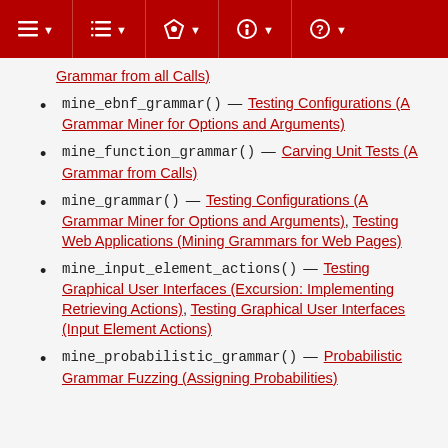Navigation toolbar
Grammar from all Calls)
mine_ebnf_grammar() — Testing Configurations (A Grammar Miner for Options and Arguments)
mine_function_grammar() — Carving Unit Tests (A Grammar from Calls)
mine_grammar() — Testing Configurations (A Grammar Miner for Options and Arguments), Testing Web Applications (Mining Grammars for Web Pages)
mine_input_element_actions() — Testing Graphical User Interfaces (Excursion: Implementing Retrieving Actions), Testing Graphical User Interfaces (Input Element Actions)
mine_probabilistic_grammar() — Probabilistic Grammar Fuzzing (Assigning Probabilities)